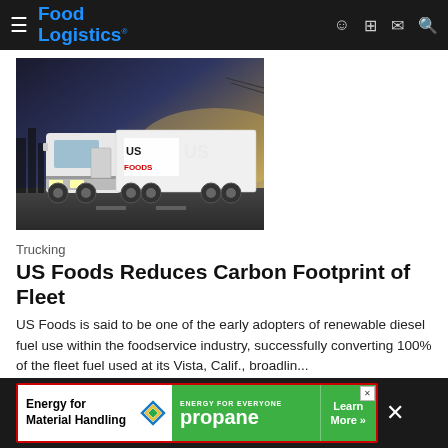Food Logistics
[Figure (photo): A US Foods branded white semi-truck with refrigerated trailer driving on a road at dusk/dawn.]
Trucking
US Foods Reduces Carbon Footprint of Fleet
US Foods is said to be one of the early adopters of renewable diesel fuel use within the foodservice industry, successfully converting 100% of the fleet fuel used at its Vista, Calif., broadlin...
US Foods    August 11, 2022
[Figure (other): Advertisement banner: Energy for Material Handling - propane - Learn More]